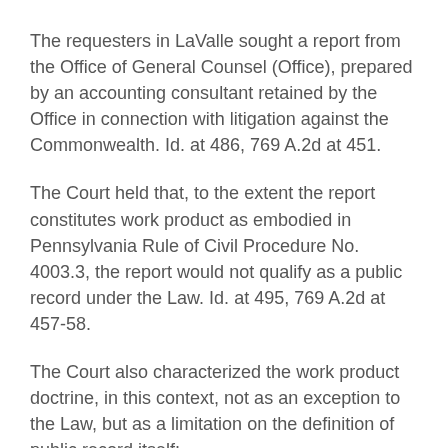The requesters in LaValle sought a report from the Office of General Counsel (Office), prepared by an accounting consultant retained by the Office in connection with litigation against the Commonwealth. Id. at 486, 769 A.2d at 451.
The Court held that, to the extent the report constitutes work product as embodied in Pennsylvania Rule of Civil Procedure No. 4003.3, the report would not qualify as a public record under the Law. Id. at 495, 769 A.2d at 457-58.
The Court also characterized the work product doctrine, in this context, not as an exception to the Law, but as a limitation on the definition of public record itself:
Under our interpretation, the character of the material as work product serves not as an exception